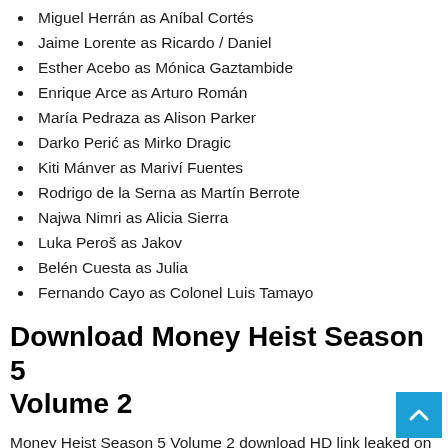Miguel Herrán as Aníbal Cortés
Jaime Lorente as Ricardo / Daniel
Esther Acebo as Mónica Gaztambide
Enrique Arce as Arturo Román
María Pedraza as Alison Parker
Darko Perić as Mirko Dragic
Kiti Mánver as Mariví Fuentes
Rodrigo de la Serna as Martín Berrote
Najwa Nimri as Alicia Sierra
Luka Peroš as Jakov
Belén Cuesta as Julia
Fernando Cayo as Colonel Luis Tamayo
Download Money Heist Season 5 Volume 2
Money Heist Season 5 Volume 2 download HD link leaked on